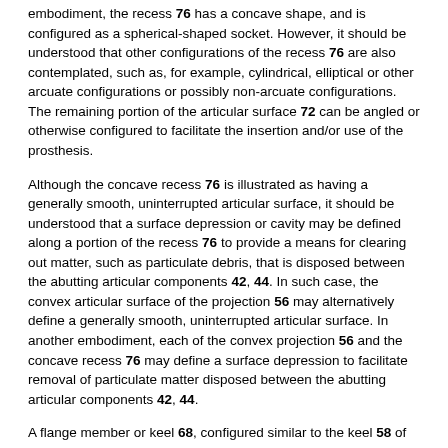embodiment, the recess 76 has a concave shape, and is configured as a spherical-shaped socket. However, it should be understood that other configurations of the recess 76 are also contemplated, such as, for example, cylindrical, elliptical or other arcuate configurations or possibly non-arcuate configurations. The remaining portion of the articular surface 72 can be angled or otherwise configured to facilitate the insertion and/or use of the prosthesis.
Although the concave recess 76 is illustrated as having a generally smooth, uninterrupted articular surface, it should be understood that a surface depression or cavity may be defined along a portion of the recess 76 to provide a means for clearing out matter, such as particulate debris, that is disposed between the abutting articular components 42, 44. In such case, the convex articular surface of the projection 56 may alternatively define a generally smooth, uninterrupted articular surface. In another embodiment, each of the convex projection 56 and the concave recess 76 may define a surface depression to facilitate removal of particulate matter disposed between the abutting articular components 42, 44.
A flange member or keel 68, configured similar to the keel 58 of articular component 42, extends from the bearing surface 48. In one embodiment, the keel 68 extends along the transverse axis T and is offset from the center of the bearing surface 48. Such an embodiment would accommodate insertion of the prosthetic joint 40 using a lateral approach. However, it